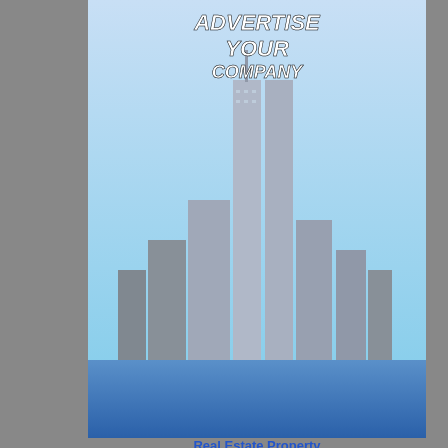[Figure (photo): Advertisement banner: ADVERTISE YOUR COMPANY with city skyline photo]
Real Estate Property and Companies
| # | Thumb | Info |
| --- | --- | --- |
| 995 | [leopard image] | голая де...
Ты когда... порно ин...
Last mon... |
| 996 |  | love luxu...
meizitang... slimming... slimming...
Last mon... |
| 997 |  | нннннннн нн...
нннннннн нн...
Last mon... |
| 998 |  | how to u...
kamagra... kamagra...
Last mon... |
| 999 |  | Your sta...
Aliexpres...
Last mon... |
| 1000 |  | Interesti...
http://cial... coupon w...
Last mon... |
Page: [1] [2] [3] [4] [5] [6] [7] [8] [9] [10] [11] [12]... [37] [38] [39] [40] [41] [42] [43] [44] [45] [46] [4... [72] [73] [74] [75] [76] [77] [78] [79] [80] [8...